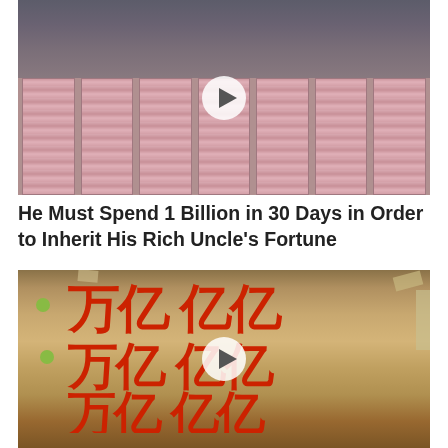[Figure (photo): Thumbnail image of people standing behind stacks of money (banknotes), with a play button overlay indicating a video.]
He Must Spend 1 Billion in 30 Days in Order to Inherit His Rich Uncle’s Fortune
[Figure (photo): Thumbnail image of a large cardboard box with red handwritten Chinese characters and a play button overlay indicating a video.]